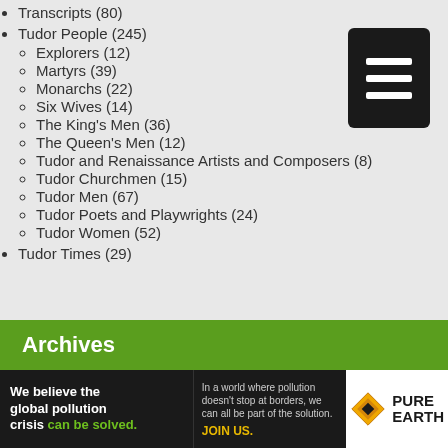Transcripts (80)
Tudor People (245)
Explorers (12)
Martyrs (39)
Monarchs (22)
Six Wives (14)
The King's Men (36)
The Queen's Men (12)
Tudor and Renaissance Artists and Composers (8)
Tudor Churchmen (15)
Tudor Men (67)
Tudor Poets and Playwrights (24)
Tudor Women (52)
Tudor Times (29)
Archives
[Figure (other): Pure Earth advertisement banner: 'We believe the global pollution crisis can be solved.' with Pure Earth logo]